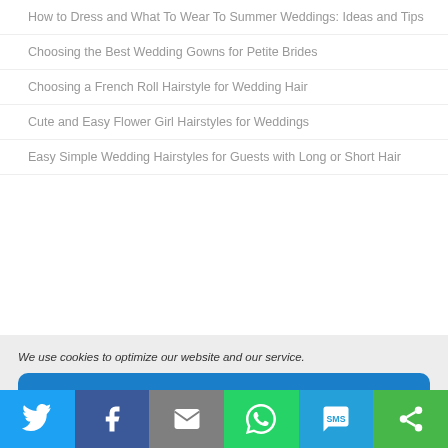How to Dress and What To Wear To Summer Weddings: Ideas and Tips
Choosing the Best Wedding Gowns for Petite Brides
Choosing a French Roll Hairstyle for Wedding Hair
Cute and Easy Flower Girl Hairstyles for Weddings
Easy Simple Wedding Hairstyles for Guests with Long or Short Hair
We use cookies to optimize our website and our service.
Accept cookies
Deny
View preferences
[Figure (infographic): Social sharing bar with icons for Twitter, Facebook, Email, WhatsApp, SMS, and Share]